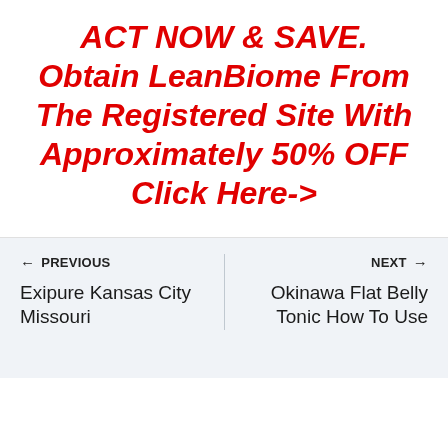ACT NOW & SAVE. Obtain LeanBiome From The Registered Site With Approximately 50% OFF Click Here->
← PREVIOUS
Exipure Kansas City Missouri
NEXT →
Okinawa Flat Belly Tonic How To Use